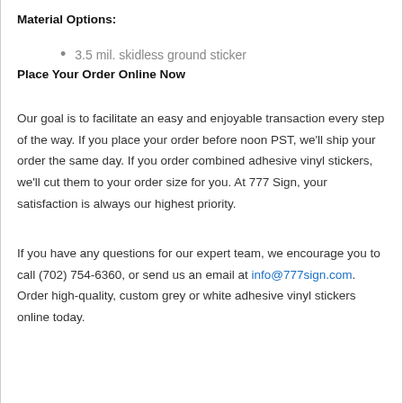Material Options:
3.5 mil. skidless ground sticker
Place Your Order Online Now
Our goal is to facilitate an easy and enjoyable transaction every step of the way. If you place your order before noon PST, we'll ship your order the same day. If you order combined adhesive vinyl stickers, we'll cut them to your order size for you. At 777 Sign, your satisfaction is always our highest priority.
If you have any questions for our expert team, we encourage you to call (702) 754-6360, or send us an email at info@777sign.com. Order high-quality, custom grey or white adhesive vinyl stickers online today.